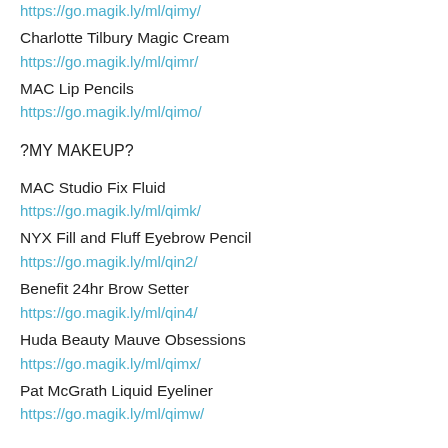https://go.magik.ly/ml/qimy/
Charlotte Tilbury Magic Cream
https://go.magik.ly/ml/qimr/
MAC Lip Pencils
https://go.magik.ly/ml/qimo/
?MY MAKEUP?
MAC Studio Fix Fluid
https://go.magik.ly/ml/qimk/
NYX Fill and Fluff Eyebrow Pencil
https://go.magik.ly/ml/qin2/
Benefit 24hr Brow Setter
https://go.magik.ly/ml/qin4/
Huda Beauty Mauve Obsessions
https://go.magik.ly/ml/qimx/
Pat McGrath Liquid Eyeliner
https://go.magik.ly/ml/qimw/